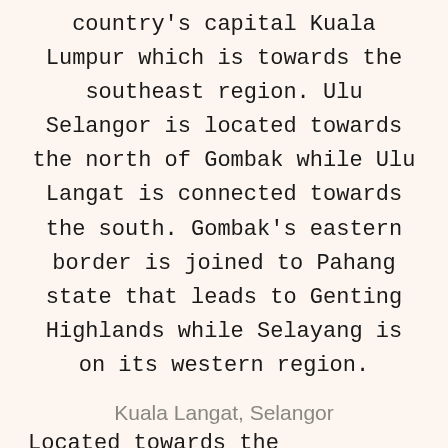country's capital Kuala Lumpur which is towards the southeast region. Ulu Selangor is located towards the north of Gombak while Ulu Langat is connected towards the south. Gombak's eastern border is joined to Pahang state that leads to Genting Highlands while Selayang is on its western region.
Kuala Langat, Selangor
Located towards the southwestern areas of the state of Selangor, Kuala Langat is one of the major towns with a land size of 885 km². There are an estimated population of around 222,000 people here. Kuala Langat is known for its natural surroundings where there are